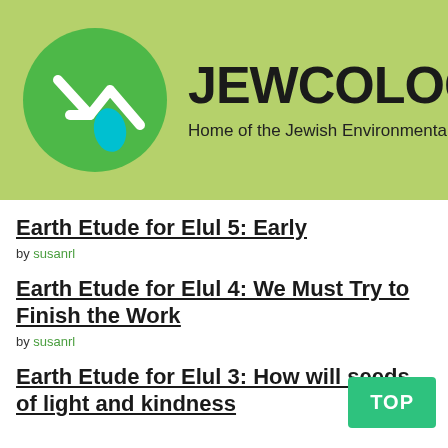[Figure (logo): Jewcology.org website header banner with green circular logo containing a lightning bolt and water drop icon, site name JEWCOLOGY.ORG in large bold text, and subtitle 'Home of the Jewish Environmental Movement' on a light green background]
Earth Etude for Elul 5: Early
by susanrl
Earth Etude for Elul 4: We Must Try to Finish the Work
by susanrl
Earth Etude for Elul 3: How will seeds of light and kindness